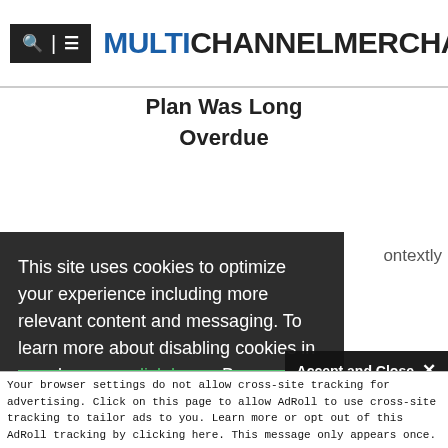MULTICHANNEL MERCHANT
Plan Was Long Overdue
ontextly
This site uses cookies to optimize your experience including more relevant content and messaging. To learn more about disabling cookies in your browser, click here. By continuing to use this site, you accept our use of cookies. For more information, view our updated Privacy Policy.
I Consent
Accept and Close ✕
Your browser settings do not allow cross-site tracking for advertising. Click on this page to allow AdRoll to use cross-site tracking to tailor ads to you. Learn more or opt out of this AdRoll tracking by clicking here. This message only appears once.